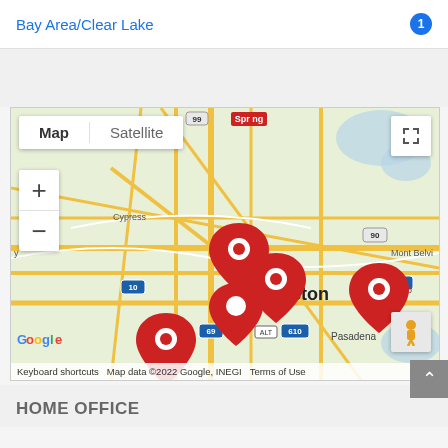Bay Area/Clear Lake
[Figure (map): Google Map showing Houston, TX area with red location pins near Houston, Pasadena, Spring areas. Map/Satellite toggle controls, zoom +/- buttons, fullscreen button, and pegman icon visible. Map footer shows: Keyboard shortcuts | Map data ©2022 Google, INEGI | Terms of Use]
HOME OFFICE